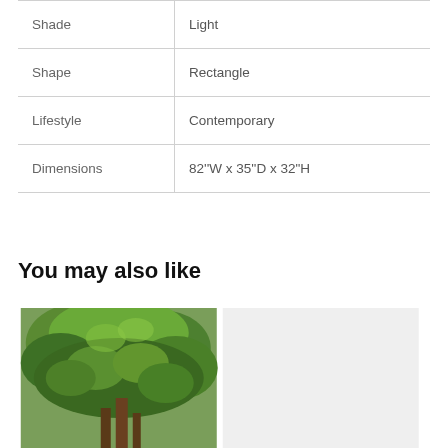| Attribute | Value |
| --- | --- |
| Shade | Light |
| Shape | Rectangle |
| Lifestyle | Contemporary |
| Dimensions | 82''W x 35''D x 32"H |
You may also like
[Figure (photo): Green leafy tree or shrub, dense foliage, outdoor nature photo]
[Figure (photo): Gray/light colored placeholder image]